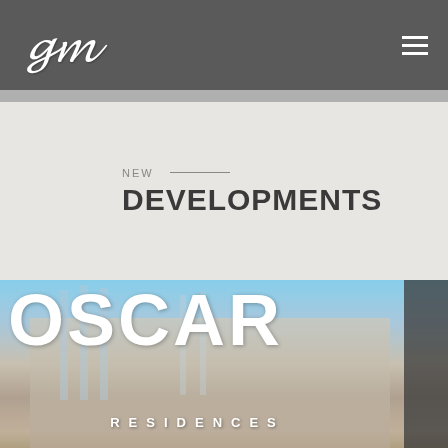KG logo and navigation header
NEW DEVELOPMENTS
[Figure (photo): Oscar Residences building photograph with large white OSCAR text overlay and RESIDENCES subtitle, showing a modern multi-story glass and concrete building against a blue sky]